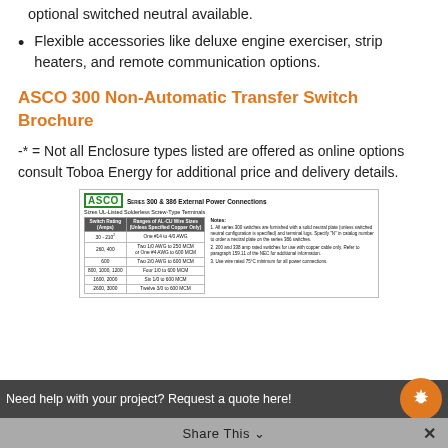optional switched neutral available.
Flexible accessories like deluxe engine exerciser, strip heaters, and remote communication options.
ASCO 300 Non-Automatic Transfer Switch Brochure
-* = Not all Enclosure types listed are offered as online options consult Toboa Energy for additional price and delivery details.
[Figure (table-as-image): ASCO Series 300 & 386 External Power Connections table showing Switch Rating (Amps) and Ranges of AL-CU Wire Sizes for various amperage ranges from 30-210 to 2600-3000, with notes about neutral plates and copper cable use.]
Need help with your project? Request a quote here!
Share This